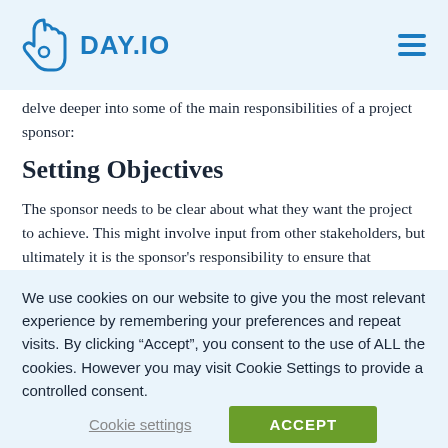DAY.IO
delve deeper into some of the main responsibilities of a project sponsor:
Setting Objectives
The sponsor needs to be clear about what they want the project to achieve. This might involve input from other stakeholders, but ultimately it is the sponsor's responsibility to ensure that everyone is agreed on
We use cookies on our website to give you the most relevant experience by remembering your preferences and repeat visits. By clicking “Accept”, you consent to the use of ALL the cookies. However you may visit Cookie Settings to provide a controlled consent.
Cookie settings
ACCEPT